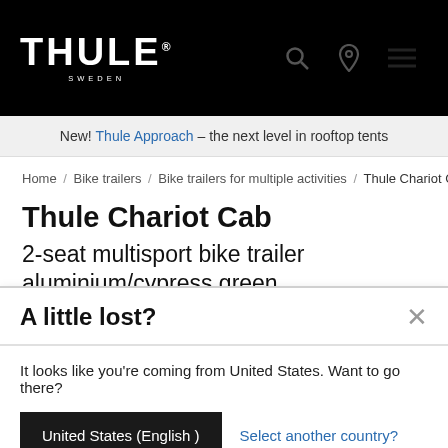THULE SWEDEN — navigation header with search, location, and menu icons
New! Thule Approach – the next level in rooftop tents
Home / Bike trailers / Bike trailers for multiple activities / Thule Chariot C
Thule Chariot Cab
2-seat multisport bike trailer aluminium/cypress green
A little lost?
It looks like you're coming from United States. Want to go there?
United States (English )
Select another country?